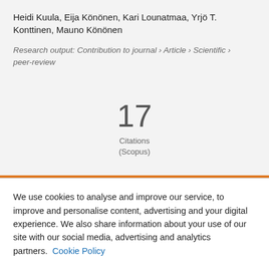Heidi Kuula, Eija Könönen, Kari Lounatmaa, Yrjö T. Konttinen, Mauno Könönen
Research output: Contribution to journal › Article › Scientific › peer-review
17
Citations
(Scopus)
We use cookies to analyse and improve our service, to improve and personalise content, advertising and your digital experience. We also share information about your use of our site with our social media, advertising and analytics partners.  Cookie Policy